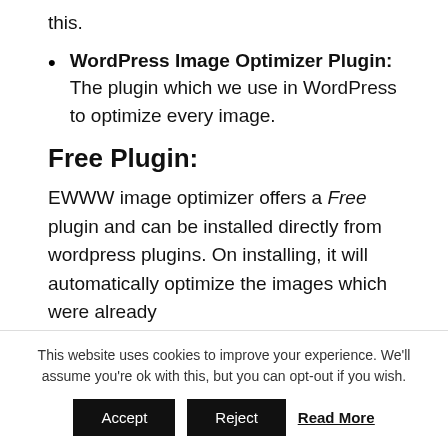this.
WordPress Image Optimizer Plugin: The plugin which we use in WordPress to optimize every image.
Free Plugin:
EWWW image optimizer offers a Free plugin and can be installed directly from wordpress plugins. On installing, it will automatically optimize the images which were already
This website uses cookies to improve your experience. We'll assume you're ok with this, but you can opt-out if you wish.